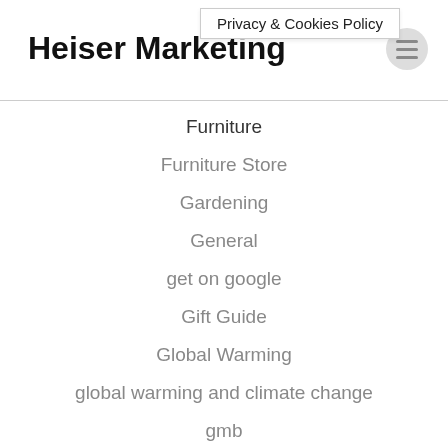Heiser Marketing
Privacy & Cookies Policy
Furniture
Furniture Store
Gardening
General
get on google
Gift Guide
Global Warming
global warming and climate change
gmb
Gold & Commodities
Gold IPOs
Goldendoodle
Goldendoodle Breeders